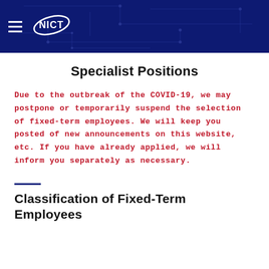NICT
Specialist Positions
Due to the outbreak of the COVID-19, we may postpone or temporarily suspend the selection of fixed-term employees. We will keep you posted of new announcements on this website, etc. If you have already applied, we will inform you separately as necessary.
Classification of Fixed-Term Employees